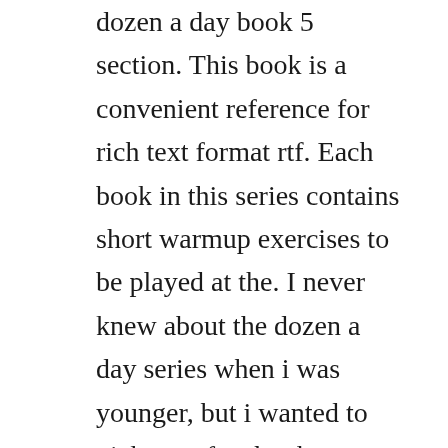dozen a day book 5 section. This book is a convenient reference for rich text format rtf. Each book in this series contains short warmup exercises to be played at the. I never knew about the dozen a day series when i was younger, but i wanted to pick up a few books to brush up on sight reading and build muscle in my fingers. Mission command in the 21st century army university press. Gods word is all powerful he commands human history v45 what god does is correct, right, and true including his word therefore, when he directs us in paths, it is reliable instruction for us imp.